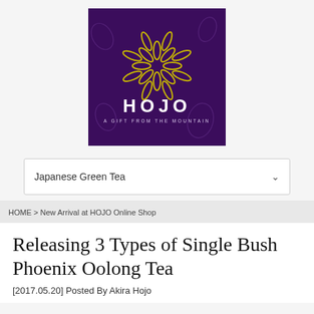[Figure (logo): HOJO tea brand logo on dark purple background with golden leaf mandala design and tagline 'A GIFT FROM THE MOUNTAIN']
Japanese Green Tea
HOME > New Arrival at HOJO Online Shop
Releasing 3 Types of Single Bush Phoenix Oolong Tea
[2017.05.20] Posted By Akira Hojo